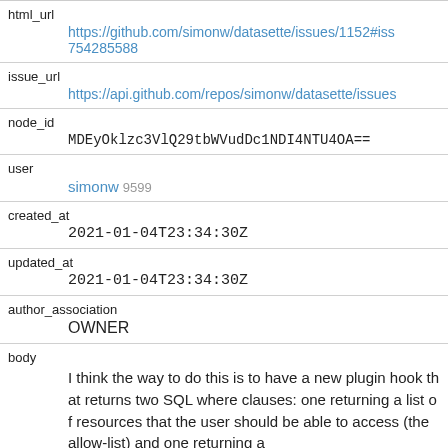| field | value |
| --- | --- |
| html_url | https://github.com/simonw/datasette/issues/1152#iss 754285588 |
| issue_url | https://api.github.com/repos/simonw/datasette/issues |
| node_id | MDEyOklzc3VlQ29tbWVudDc1NDI4NTU4OA== |
| user | simonw 9599 |
| created_at | 2021-01-04T23:34:30Z |
| updated_at | 2021-01-04T23:34:30Z |
| author_association | OWNER |
| body | I think the way to do this is to have a new plugin hook that returns two SQL where clauses: one returning a list of resources that the user should be able to access (the allow-list) and one returning a |